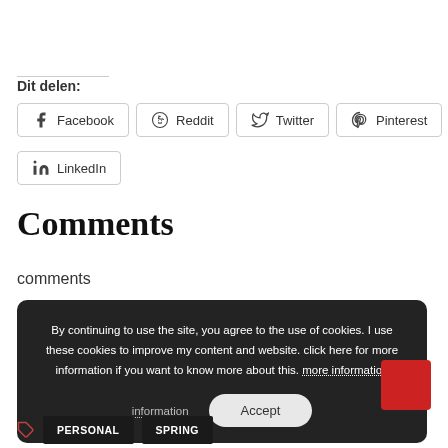Dit delen:
Facebook
Reddit
Twitter
Pinterest
LinkedIn
Comments
comments
By continuing to use the site, you agree to the use of cookies. I use these cookies to improve my content and website. click here for more information if you want to know more about this. more information
Accept
PERSONAL
SPRING